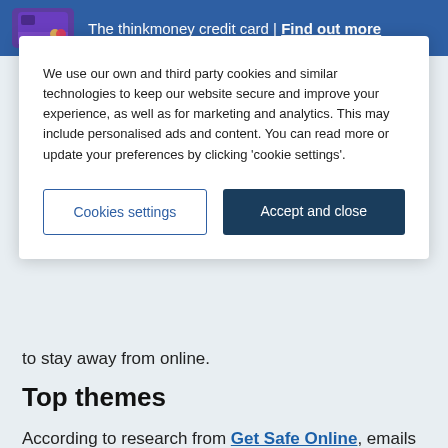The thinkmoney credit card | Find out more
We use our own and third party cookies and similar technologies to keep our website secure and improve your experience, as well as for marketing and analytics. This may include personalised ads and content. You can read more or update your preferences by clicking 'cookie settings'.
Cookies settings
Accept and close
to stay away from online.
Top themes
According to research from Get Safe Online, emails are the most popular channel for fraudsters to use to target their victims – being responsible for over three quarters of all reported incidents. The report highlighted some of